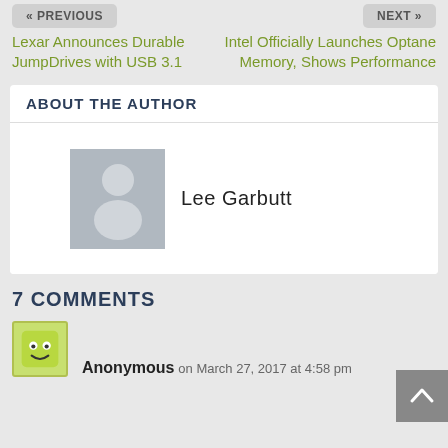« PREVIOUS
NEXT »
Lexar Announces Durable JumpDrives with USB 3.1
Intel Officially Launches Optane Memory, Shows Performance
ABOUT THE AUTHOR
[Figure (other): Default user avatar placeholder image - grey silhouette of a person]
Lee Garbutt
7 COMMENTS
[Figure (other): Green cartoon face avatar for Anonymous commenter]
Anonymous on March 27, 2017 at 4:58 pm